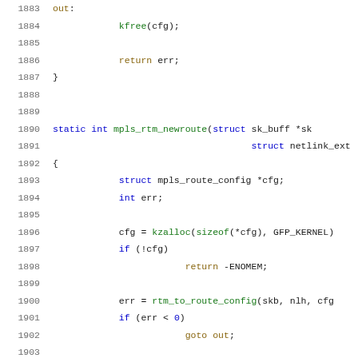Code listing lines 1883-1904, C source code for mpls_rtm_newroute function
1883: out:
1884:     kfree(cfg);
1885: (blank)
1886:     return err;
1887: }
1888: (blank)
1889: (blank)
1890: static int mpls_rtm_newroute(struct sk_buff *sk
1891:                                struct netlink_ext
1892: {
1893:     struct mpls_route_config *cfg;
1894:     int err;
1895: (blank)
1896:     cfg = kzalloc(sizeof(*cfg), GFP_KERNEL)
1897:     if (!cfg)
1898:         return -ENOMEM;
1899: (blank)
1900:     err = rtm_to_route_config(skb, nlh, cfg
1901:     if (err < 0)
1902:         goto out;
1903: (blank)
1904:     err = mpls_route_add(cfg, extack);